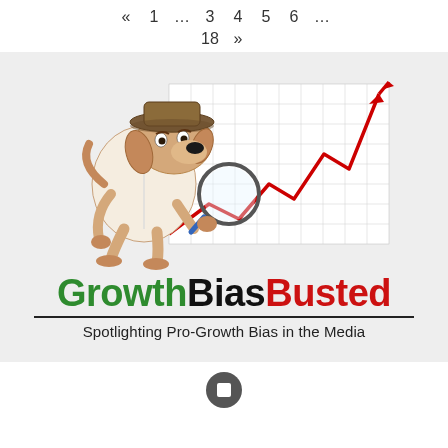« 1 … 3 4 5 6 … 18 »
[Figure (logo): GrowthBiasBusted logo: cartoon detective dog holding a magnifying glass over a stock chart with a rising red line. Text reads 'GrowthBiasBusted' with 'Growth' in green, 'Bias' in black, 'Busted' in red, and tagline 'Spotlighting Pro-Growth Bias in the Media'.]